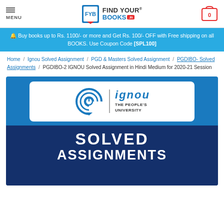MENU | FIND YOUR BOOKS .in | 0
🔔 Buy books up to Rs. 1100/- or more and Get Rs. 100/- OFF with Free shipping on all BOOKS. Use Coupon Code [SPL100]
Home / Ignou Solved Assignment / PGD & Masters Solved Assignment / PGDIBO- Solved Assignments / PGDIBO-2 IGNOU Solved Assignment in Hindi Medium for 2020-21 Session
[Figure (illustration): IGNOU The People's University logo on white card over blue background, with text SOLVED ASSIGNMENTS below on dark blue background]